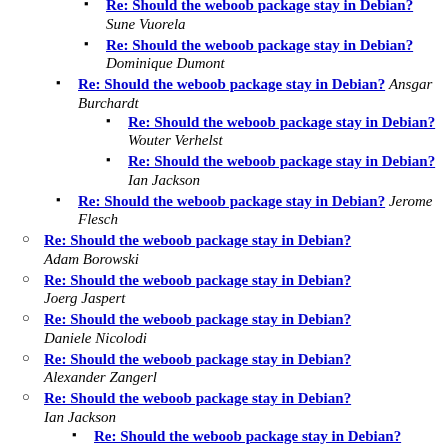Re: Should the weboob package stay in Debian? Sune Vuorela
Re: Should the weboob package stay in Debian? Dominique Dumont
Re: Should the weboob package stay in Debian? Ansgar Burchardt
Re: Should the weboob package stay in Debian? Wouter Verhelst
Re: Should the weboob package stay in Debian? Ian Jackson
Re: Should the weboob package stay in Debian? Jerome Flesch
Re: Should the weboob package stay in Debian? Adam Borowski
Re: Should the weboob package stay in Debian? Joerg Jaspert
Re: Should the weboob package stay in Debian? Daniele Nicolodi
Re: Should the weboob package stay in Debian? Alexander Zangerl
Re: Should the weboob package stay in Debian? Ian Jackson
Re: Should the weboob package stay in Debian? Dmitry Smirnov
Re: Should the weboob package stay in Debian? Benedikt Wildenhain